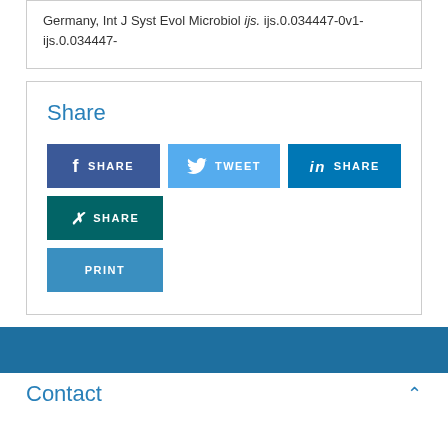Germany, Int J Syst Evol Microbiol ijs. ijs.0.034447-0v1-ijs.0.034447-
Share
[Figure (screenshot): Social share buttons: Facebook SHARE, Twitter TWEET, LinkedIn SHARE, XING SHARE, and PRINT button]
Contact